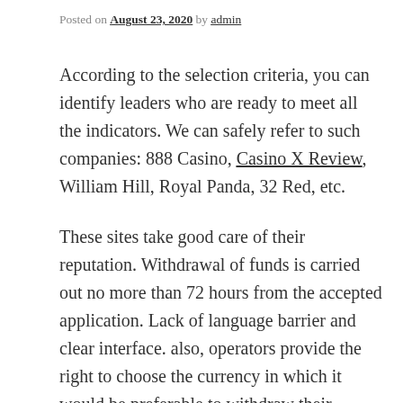Posted on August 23, 2020 by admin
According to the selection criteria, you can identify leaders who are ready to meet all the indicators. We can safely refer to such companies: 888 Casino, Casino X Review, William Hill, Royal Panda, 32 Red, etc.
These sites take good care of their reputation. Withdrawal of funds is carried out no more than 72 hours from the accepted application. Lack of language barrier and clear interface. also, operators provide the right to choose the currency in which it would be preferable to withdraw their winnings.